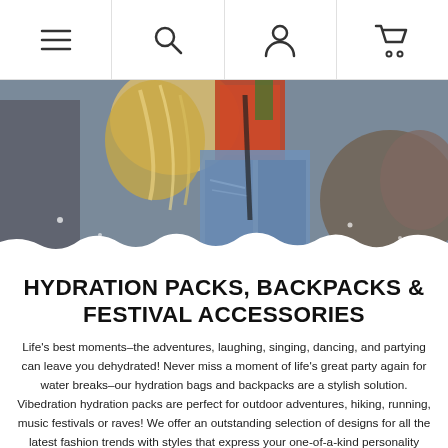Navigation bar with menu, search, account, and cart icons
[Figure (photo): Hero image showing people at a festival/outdoor event, with one person wearing ripped jeans denim shorts and a colorful backpack, carrying festival gear]
HYDRATION PACKS, BACKPACKS & FESTIVAL ACCESSORIES
Life's best moments–the adventures, laughing, singing, dancing, and partying can leave you dehydrated! Never miss a moment of life's great party again for water breaks–our hydration bags and backpacks are a stylish solution. Vibedration hydration packs are perfect for outdoor adventures, hiking, running, music festivals or raves! We offer an outstanding selection of designs for all the latest fashion trends with styles that express your one-of-a-kind personality